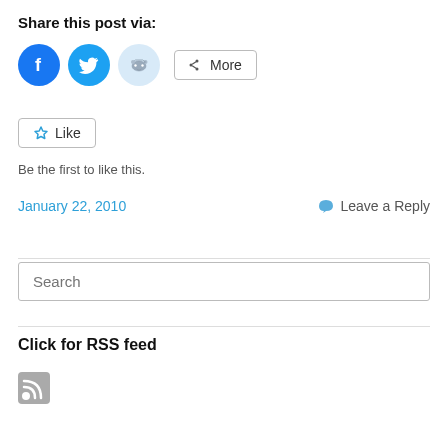Share this post via:
[Figure (infographic): Social sharing icons: Facebook (blue circle), Twitter (cyan circle), Reddit (light blue circle), and a More button with share icon]
[Figure (infographic): Like button with star icon]
Be the first to like this.
January 22, 2010
Leave a Reply
Search
Click for RSS feed
[Figure (infographic): RSS feed icon (gray square with RSS symbol)]